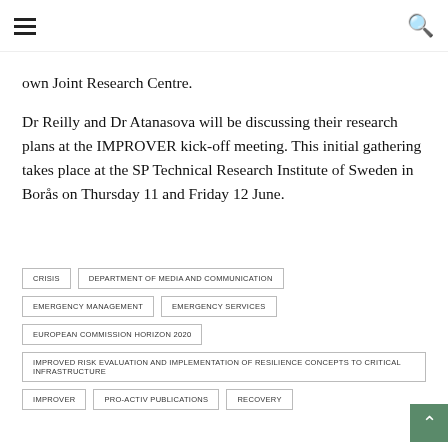≡  🔍
own Joint Research Centre.
Dr Reilly and Dr Atanasova will be discussing their research plans at the IMPROVER kick-off meeting. This initial gathering takes place at the SP Technical Research Institute of Sweden in Borås on Thursday 11 and Friday 12 June.
CRISIS
DEPARTMENT OF MEDIA AND COMMUNICATION
EMERGENCY MANAGEMENT
EMERGENCY SERVICES
EUROPEAN COMMISSION HORIZON 2020
IMPROVED RISK EVALUATION AND IMPLEMENTATION OF RESILIENCE CONCEPTS TO CRITICAL INFRASTRUCTURE
IMPROVER
PRO-ACTIV PUBLICATIONS
RECOVERY